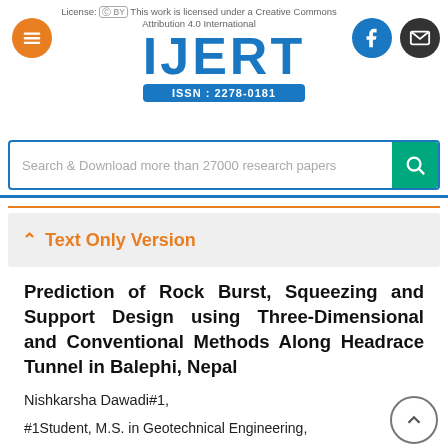[Figure (logo): IJERT journal logo with ISSN 2278-0181, hamburger menu button (orange), Facebook button (blue), email button (dark), and search bar]
License: This work is licensed under a Creative Commons Attribution 4.0 International
Text Only Version
Prediction of Rock Burst, Squeezing and Support Design using Three-Dimensional and Conventional Methods Along Headrace Tunnel in Balephi, Nepal
Nishkarsha Dawadi#1,
#1Student, M.S. in Geotechnical Engineering,